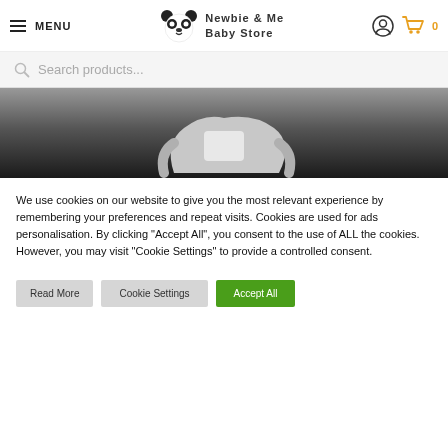MENU | Newbie & Me Baby Store | [account icon] [cart icon] 0
Search products...
[Figure (photo): Product image showing a baby item (appears to be a baby carrier or seat) against a dark background]
We use cookies on our website to give you the most relevant experience by remembering your preferences and repeat visits. Cookies are used for ads personalisation. By clicking "Accept All", you consent to the use of ALL the cookies. However, you may visit "Cookie Settings" to provide a controlled consent.
Read More | Cookie Settings | Accept All